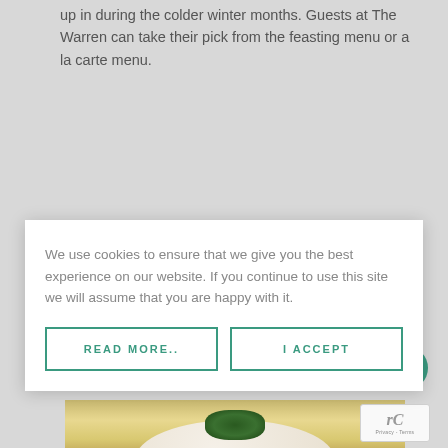up in during the colder winter months. Guests at The Warren can take their pick from the feasting menu or a la carte menu.
We use cookies to ensure that we give you the best experience on our website. If you continue to use this site we will assume that you are happy with it.
READ MORE..
I ACCEPT
[Figure (photo): Interior photo showing teal/green chairs with dark metal legs in a restaurant setting]
[Figure (photo): Food photo showing a white plate with a dish topped with green garnish (herbs or seaweed)]